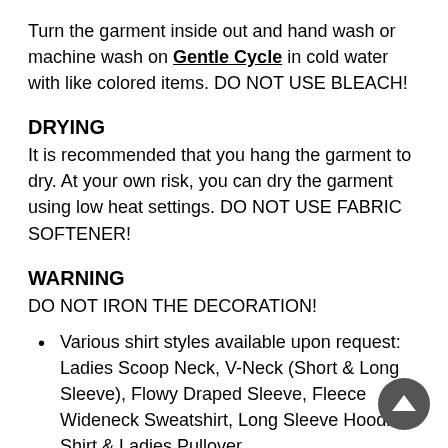Turn the garment inside out and hand wash or machine wash on Gentle Cycle in cold water with like colored items. DO NOT USE BLEACH!
DRYING
It is recommended that you hang the garment to dry. At your own risk, you can dry the garment using low heat settings. DO NOT USE FABRIC SOFTENER!
WARNING
DO NOT IRON THE DECORATION!
Various shirt styles available upon request: Ladies Scoop Neck, V-Neck (Short & Long Sleeve), Flowy Draped Sleeve, Fleece Wideneck Sweatshirt, Long Sleeve Hoodie Shirt & Ladies Pullover